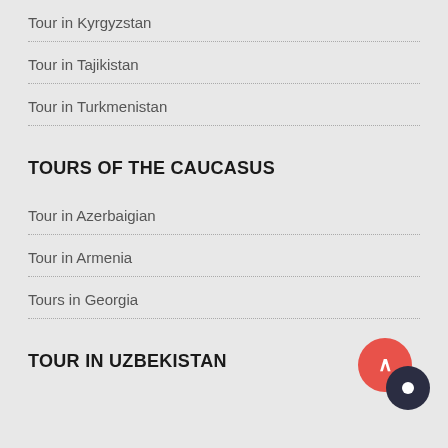Tour in Kyrgyzstan
Tour in Tajikistan
Tour in Turkmenistan
TOURS OF THE CAUCASUS
Tour in Azerbaigian
Tour in Armenia
Tours in Georgia
TOUR IN UZBEKISTAN